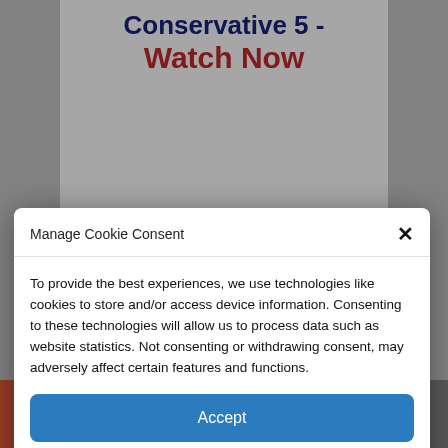Conservative 5 - Watch Now
[Figure (screenshot): Cookie consent modal dialog overlay on a webpage. The modal has a header 'Manage Cookie Consent' with an X close button, body text about cookie usage, a blue 'Accept' button, and links to Cookie Policy and Privacy Policy. Background shows page title 'Conservative 5 - Watch Now'.]
[Figure (photo): Partial photo visible at the bottom showing a gold object against a dark background with partial text 'LN'.]
[Figure (infographic): Social sharing bar at bottom with five buttons: orange plus (+), dark blue Facebook (f), light blue Twitter bird, dark gray share/link icon, and gray email/envelope icon.]